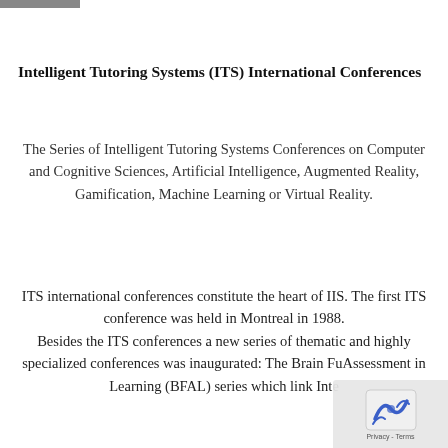Intelligent Tutoring Systems (ITS) International Conferences
The Series of Intelligent Tutoring Systems Conferences on Computer and Cognitive Sciences, Artificial Intelligence, Augmented Reality, Gamification, Machine Learning or Virtual Reality.
ITS international conferences constitute the heart of IIS. The first ITS conference was held in Montreal in 1988. Besides the ITS conferences a new series of thematic and highly specialized conferences was inaugurated: The Brain Fu... Assessment in Learning (BFAL) series which link Intelli...